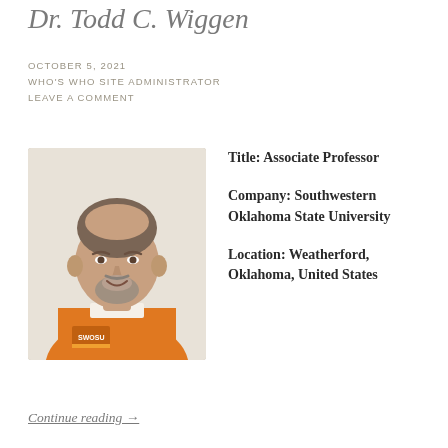Dr. Todd C. Wiggen
OCTOBER 5, 2021
WHO'S WHO SITE ADMINISTRATOR
LEAVE A COMMENT
[Figure (photo): Photo of Dr. Todd C. Wiggen, a middle-aged man with a beard wearing an orange SWOSU polo shirt, smiling, on a light background.]
Title: Associate Professor
Company: Southwestern Oklahoma State University
Location: Weatherford, Oklahoma, United States
Continue reading →